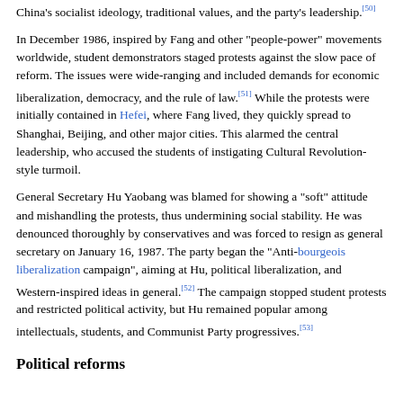China's socialist ideology, traditional values, and the party's leadership.[50]
In December 1986, inspired by Fang and other "people-power" movements worldwide, student demonstrators staged protests against the slow pace of reform. The issues were wide-ranging and included demands for economic liberalization, democracy, and the rule of law.[51] While the protests were initially contained in Hefei, where Fang lived, they quickly spread to Shanghai, Beijing, and other major cities. This alarmed the central leadership, who accused the students of instigating Cultural Revolution-style turmoil.
General Secretary Hu Yaobang was blamed for showing a "soft" attitude and mishandling the protests, thus undermining social stability. He was denounced thoroughly by conservatives and was forced to resign as general secretary on January 16, 1987. The party began the "Anti-bourgeois liberalization campaign", aiming at Hu, political liberalization, and Western-inspired ideas in general.[52] The campaign stopped student protests and restricted political activity, but Hu remained popular among intellectuals, students, and Communist Party progressives.[53]
Political reforms